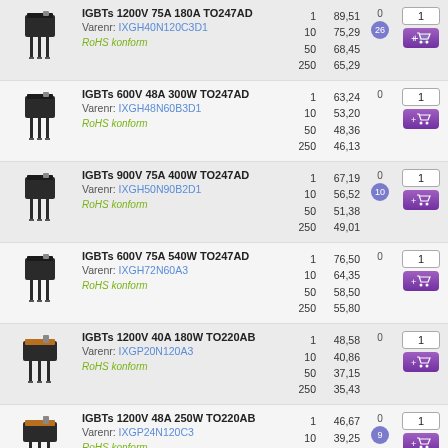| Image | Description | Qty | Price | Stock | Action |
| --- | --- | --- | --- | --- | --- |
| [IGBT image] | IGBTs 1200V 75A 180A TO247AD
Varenr: IXGH40N120C3D1
RoHS konform | 1
10
50
250 | 89,51
75,29
68,45
65,29 | 0
26 | 1 / add to cart |
| [IGBT image] | IGBTs 600V 48A 300W TO247AD
Varenr: IXGH48N60B3D1
RoHS konform | 1
10
50
250 | 63,24
53,20
48,36
46,13 | 0 | 1 / add to cart |
| [IGBT image] | IGBTs 900V 75A 400W TO247AD
Varenr: IXGH50N90B2D1
RoHS konform | 1
10
50
250 | 67,19
56,52
51,38
49,01 | 0
10 | 1 / add to cart |
| [IGBT image] | IGBTs 600V 75A 540W TO247AD
Varenr: IXGH72N60A3
RoHS konform | 1
10
50
250 | 76,50
64,35
58,50
55,80 | 0 | 1 / add to cart |
| [IGBT image] | IGBTs 1200V 40A 180W TO220AB
Varenr: IXGP20N120A3
RoHS konform | 1
10
50
250 | 48,58
40,86
37,15
35,43 | 0 | 1 / add to cart |
| [IGBT image] | IGBTs 1200V 48A 250W TO220AB
Varenr: IXGP24N120C3
RoHS konform | 1
10
50
250 | 46,67
39,25
35,69
34,04 | 0
9 | 1 / add to cart |